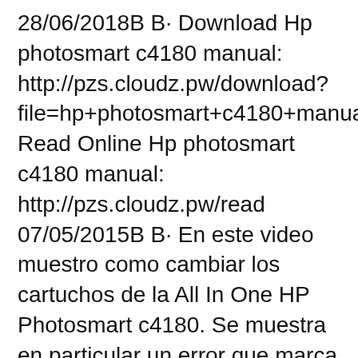28/06/2018В В· Download Hp photosmart c4180 manual: http://pzs.cloudz.pw/download?file=hp+photosmart+c4180+manual Read Online Hp photosmart c4180 manual: http://pzs.cloudz.pw/read 07/05/2015В В· En este video muestro como cambiar los cartuchos de la All In One HP Photosmart c4180. Se muestra en particular un error que marca la impresora con el cartuc...
The Setup Guide provides instructions for setting up your HP All-in-One and installing software. Make sure you follow the steps in the Setup Guide in order. If you have problems during setup, see Troubleshooting in the last section of